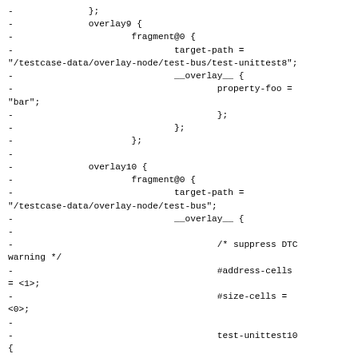Code fragment showing overlay9 and overlay10 device tree overlay definitions with fragment@0, target-path, __overlay__, property-foo, #address-cells, #size-cells, test-unittest10, compatible, and status fields